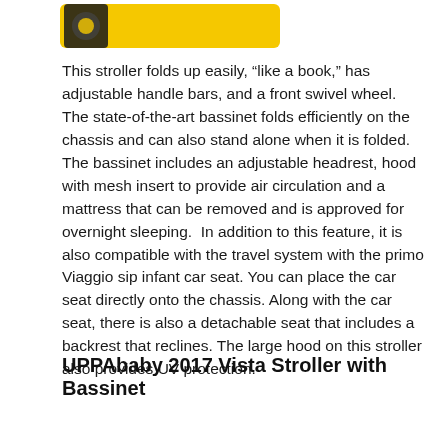[Figure (logo): Partial logo image at top of page, yellow/gold colored banner shape with dark icon]
This stroller folds up easily, “like a book,” has adjustable handle bars, and a front swivel wheel. The state-of-the-art bassinet folds efficiently on the chassis and can also stand alone when it is folded.  The bassinet includes an adjustable headrest, hood with mesh insert to provide air circulation and a mattress that can be removed and is approved for overnight sleeping.  In addition to this feature, it is also compatible with the travel system with the primo Viaggio sip infant car seat. You can place the car seat directly onto the chassis. Along with the car seat, there is also a detachable seat that includes a backrest that reclines. The large hood on this stroller also provides UV protection.
UPPAbaby 2017 Vista Stroller with Bassinet